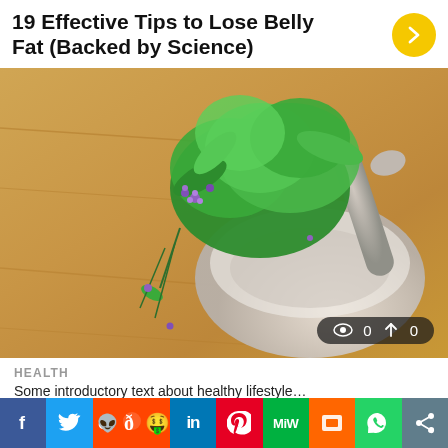19 Effective Tips to Lose Belly Fat (Backed by Science)
[Figure (photo): Mortar and pestle with fresh green herbs and small purple flowers on a wooden surface background.]
HEALTH
Some introductory text about healthy lifestyle...